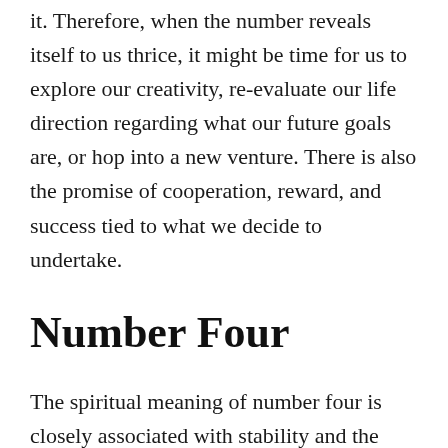it. Therefore, when the number reveals itself to us thrice, it might be time for us to explore our creativity, re-evaluate our life direction regarding what our future goals are, or hop into a new venture. There is also the promise of cooperation, reward, and success tied to what we decide to undertake.
Number Four
The spiritual meaning of number four is closely associated with stability and the natural state of things. Take all the things around us that are repeatedly in fours and consider them. For instance, the four seasons, four-way junction we pass through every day, and so lots of things in